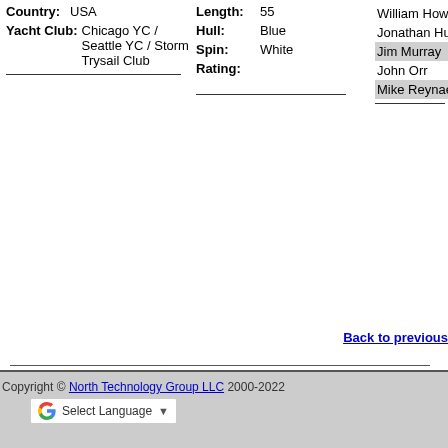Country: USA
Length: 55
Yacht Club: Chicago YC / Seattle YC / Storm Trysail Club
Hull: Blue
Spin: White
Rating:
William Howard
Jonathan Hurthle
Jim Murray
John Orr
Mike Reynaert
Back to previous
Copyright © North Technology Group LLC 2000-2022